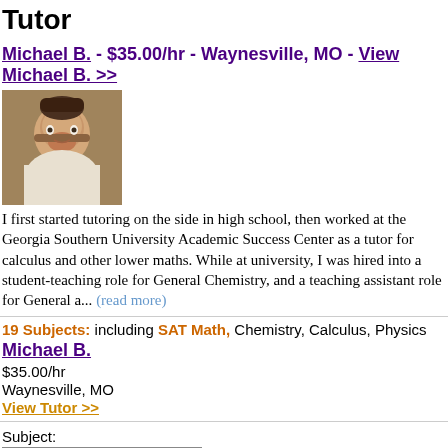Tutor
Michael B. - $35.00/hr - Waynesville, MO - View Michael B. >>
[Figure (photo): Profile photo of Michael B., a young man with a beard]
I first started tutoring on the side in high school, then worked at the Georgia Southern University Academic Success Center as a tutor for calculus and other lower maths. While at university, I was hired into a student-teaching role for General Chemistry, and a teaching assistant role for General a... (read more)
19 Subjects: including SAT Math, Chemistry, Calculus, Physics
Michael B.
$35.00/hr
Waynesville, MO
View Tutor >>
Subject:
ZIP: